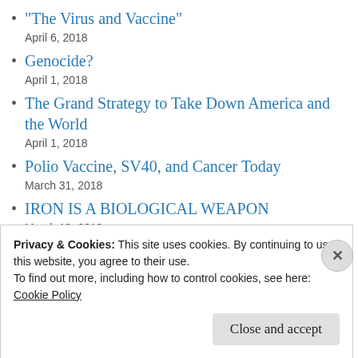“The Virus and Vaccine”
April 6, 2018
Genocide?
April 1, 2018
The Grand Strategy to Take Down America and the World
April 1, 2018
Polio Vaccine, SV40, and Cancer Today
March 31, 2018
IRON IS A BIOLOGICAL WEAPON
March 18, 2018
Privacy & Cookies: This site uses cookies. By continuing to use this website, you agree to their use.
To find out more, including how to control cookies, see here: Cookie Policy
Close and accept